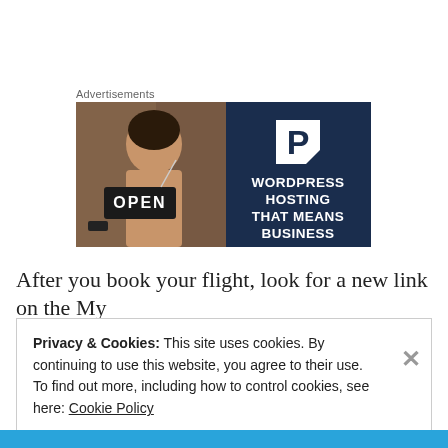Advertisements
[Figure (photo): Advertisement banner. Left half shows a smiling woman holding an OPEN sign in a shop window. Right half is dark navy blue with a white P icon and text: WORDPRESS HOSTING THAT MEANS BUSINESS]
After you book your flight, look for a new link on the My
Privacy & Cookies: This site uses cookies. By continuing to use this website, you agree to their use.
To find out more, including how to control cookies, see here: Cookie Policy
Close and accept